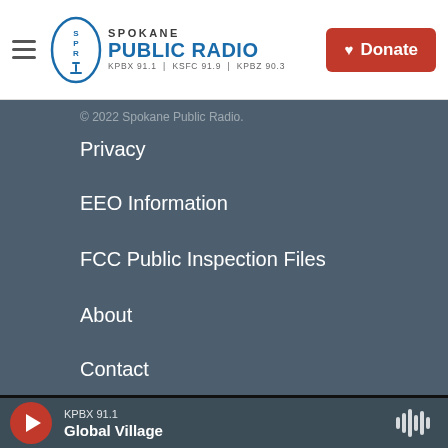Spokane Public Radio — KPBX 91.1 | KSFC 91.9 | KPBZ 90.3
© 2022 Spokane Public Radio.
Privacy
EEO Information
FCC Public Inspection Files
About
Contact
[Figure (logo): NPR logo (white text on dark background)]
[Figure (logo): American Public Media logo (white text on dark background)]
[Figure (logo): BBC logo (white letters in white squares on dark background)]
KPBX 91.1 — Global Village